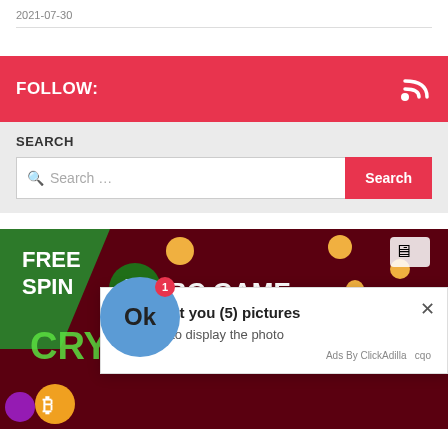2021-07-30
FOLLOW:
SEARCH
Search ...
Search
[Figure (screenshot): BC.GAME Crypto Casino advertisement banner with green logo, free spin text, and scattered coin graphics on dark red background]
Kate sent you (5) pictures
Click OK to display the photo
Ads By ClickAdilla  cqo